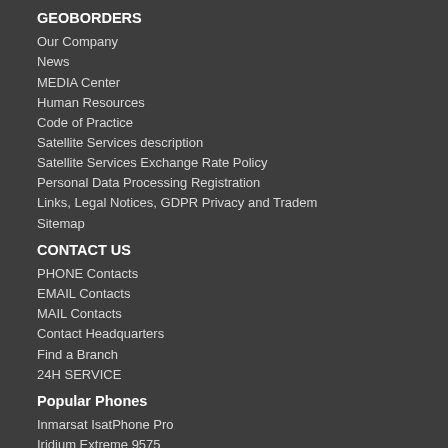GEOBORDERS
Our Company
News
MEDIA Center
Human Resources
Code of Practice
Satellite Services description
Satellite Services Exchange Rate Policy
Personal Data Processing Registration
Links, Legal Notices, GDPR Privacy and Tradem
Sitemap
CONTACT US
PHONE Contacts
EMAIL Contacts
MAIL Contacts
Contact Headquarters
Find a Branch
24H SERVICE
Popular Phones
Inmarsat IsatPhone Pro
Iridium Extreme 9575
Inmarsat BGAN 300